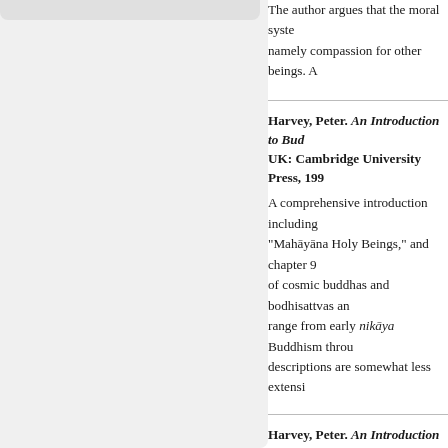The author argues that the moral system... namely compassion for other beings. A...
Harvey, Peter. An Introduction to Bud... UK: Cambridge University Press, 199...
A comprehensive introduction including "Mahāyāna Holy Beings," and chapter 9... of cosmic buddhas and bodhisattvas an... range from early nikāya Buddhism throu... descriptions are somewhat less extensi...
Harvey, Peter. An Introduction to Bud... Cambridge, UK: Cambridge Universit...
DOI: 10.1017/CBO9780511800801
Provides an outline of ethical principles... points of difference. The author speaks... second and third chapters, "Key Buddhi... notable for their treatment of virtues rela...
Jackson, Roger R. "Karuṇā (Compas...